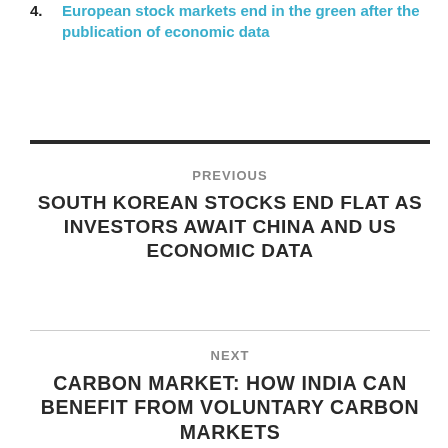4. European stock markets end in the green after the publication of economic data
PREVIOUS
SOUTH KOREAN STOCKS END FLAT AS INVESTORS AWAIT CHINA AND US ECONOMIC DATA
NEXT
CARBON MARKET: HOW INDIA CAN BENEFIT FROM VOLUNTARY CARBON MARKETS